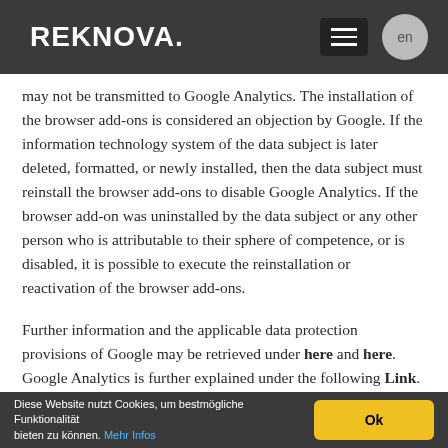REKNOVA.
may not be transmitted to Google Analytics. The installation of the browser add-ons is considered an objection by Google. If the information technology system of the data subject is later deleted, formatted, or newly installed, then the data subject must reinstall the browser add-ons to disable Google Analytics. If the browser add-on was uninstalled by the data subject or any other person who is attributable to their sphere of competence, or is disabled, it is possible to execute the reinstallation or reactivation of the browser add-ons.
Further information and the applicable data protection provisions of Google may be retrieved under here and here. Google Analytics is further explained under the following Link.
You can also prevent the analytics tracking by clicking here. This will
Diese Website nutzt Cookies, um bestmögliche Funktionalität bieten zu können. Mehr Infos